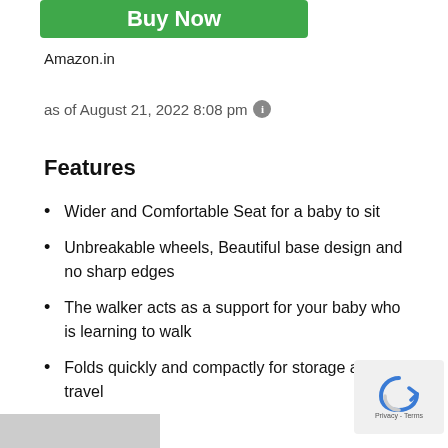[Figure (other): Green 'Buy Now' button]
Amazon.in
as of August 21, 2022 8:08 pm ℹ
Features
Wider and Comfortable Seat for a baby to sit
Unbreakable wheels, Beautiful base design and no sharp edges
The walker acts as a support for your baby who is learning to walk
Folds quickly and compactly for storage and travel
[Figure (other): reCAPTCHA Privacy - Terms badge]
[Figure (photo): Partial product image at bottom]